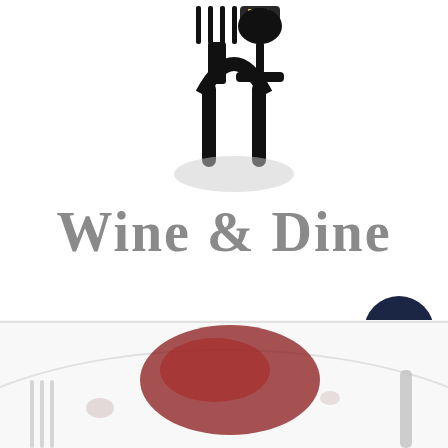[Figure (logo): Wine & Dine logo: stylized icon showing a fork and wine glass combined into an arch/bridge shape, black and white with yellow highlight on the wine glass top. Below the icon is the large text 'Wine & Dine' in a gray serif font.]
Wine & Dine Roundup: Brazilian Carnival!
[Figure (photo): Partial bottom portion of a plate/food photo showing a red wine stain or sauce on a white plate background, with fork tines visible on the left and a knife handle on the right. Blurred/cropped at bottom of page.]